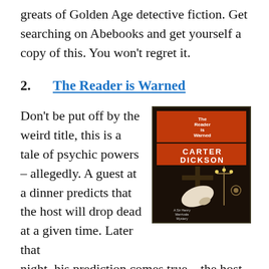greats of Golden Age detective fiction. Get searching on Abebooks and get yourself a copy of this. You won't regret it.
2.   The Reader is Warned
Don't be put off by the weird title, this is a tale of psychic powers – allegedly. A guest at a dinner predicts that the host will drop dead at a given time. Later that night, his prediction comes true – the host is dead without a mark on his body. Set just before the outbreak of the Second World War, part of
[Figure (photo): Book cover of 'The Reader is Warned' by Carter Dickson, showing a dark atmospheric cover with candelabra and a gloved hand, red and dark tones.]